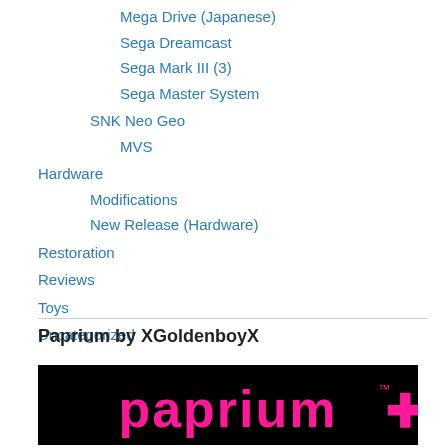Mega Drive (Japanese)
Sega Dreamcast
Sega Mark III (3)
Sega Master System
SNK Neo Geo
MVS
Hardware
Modifications
New Release (Hardware)
Restoration
Reviews
Toys
Uncategorized
Paprium by XGoldenboyX
[Figure (photo): Paprium game logo on black background with pink stylized gothic lettering and a plus/cross symbol with TM mark]